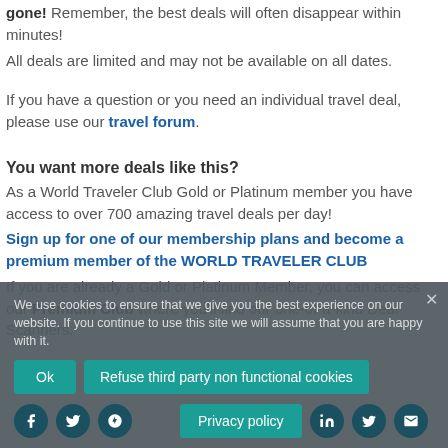gone! Remember, the best deals will often disappear within minutes!
All deals are limited and may not be available on all dates.
If you have a question or you need an individual travel deal, please use our travel forum.
You want more deals like this?
As a World Traveler Club Gold or Platinum member you have access to over 700 amazing travel deals per day!
Sign up for one of our membership plans and become a premium member of the WORLD TRAVELER CLUB
If you are already a Gold or Platinum Member, you can access our Premium Club where you'll find our one-of-a-kind Deal Scanners.
We use cookies to ensure that we give you the best experience on our website. If you continue to use this site we will assume that you are happy with it.